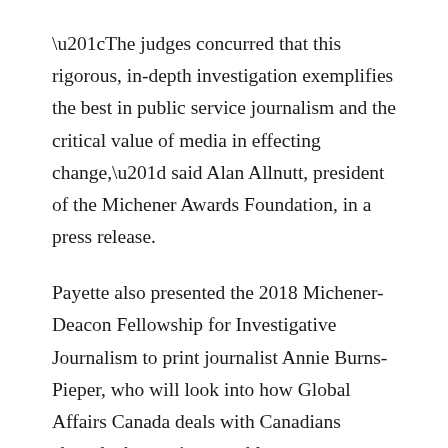“The judges concurred that this rigorous, in-depth investigation exemplifies the best in public service journalism and the critical value of media in effecting change,” said Alan Allnutt, president of the Michener Awards Foundation, in a press release.
Payette also presented the 2018 Michener-Deacon Fellowship for Investigative Journalism to print journalist Annie Burns-Pieper, who will look into how Global Affairs Canada deals with Canadians abroad who run into trouble.
The 2018 Michener-Deacon Fellowship for Journalism Education was awarded to Tamara Baluja to develop a workshop to teach journalism students the